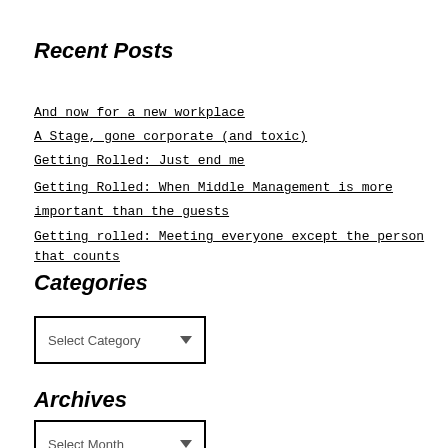Recent Posts
And now for a new workplace
A Stage, gone corporate (and toxic)
Getting Rolled: Just end me
Getting Rolled: When Middle Management is more important than the guests
Getting rolled: Meeting everyone except the person that counts
Categories
Select Category
Archives
Select Month